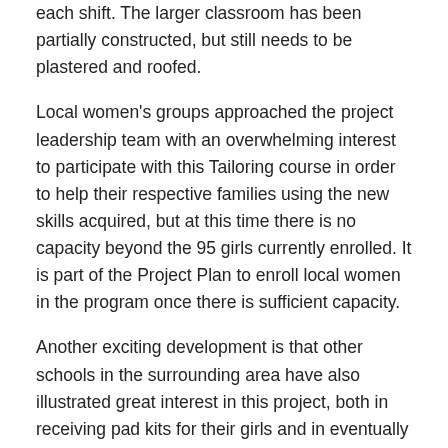each shift.  The larger classroom has been partially constructed, but still needs to be plastered and roofed.
Local women's groups approached the project leadership team with an overwhelming interest to participate with this Tailoring course in order to help their respective families using the new skills acquired, but at this time there is no capacity beyond the 95 girls currently enrolled.  It is part of the Project Plan to enroll local women in the program once there is sufficient capacity.
Another exciting development is that other schools in the surrounding area have also illustrated great interest in this project, both in receiving pad kits for their girls and in eventually starting similar programs.
To learn more about how to help empower girls by keeping them in school and the Pads for Schoolgirls program, click:
Empowering Girls